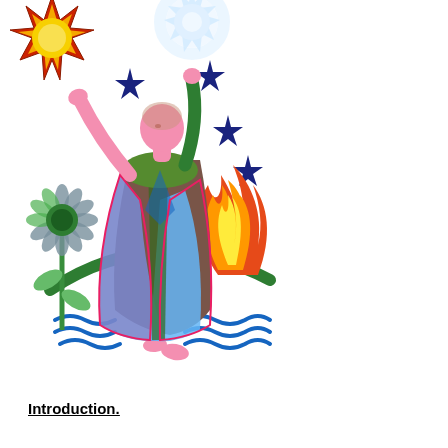[Figure (illustration): Colorful illustration of a robed figure with arms raised upward, surrounded by a sun (upper left), a glowing moon (upper center-right), four dark blue stars, a sunflower plant (left), a flame (right), green arching hills, and blue wavy water lines at the bottom.]
Introduction.